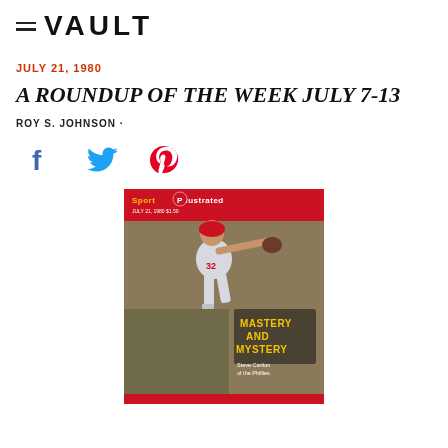VAULT
JULY 21, 1980
A ROUNDUP OF THE WEEK JULY 7-13
ROY S. JOHNSON ·
[Figure (other): Social share icons: Facebook, Twitter, Pinterest]
[Figure (photo): Sports Illustrated magazine cover dated July 21, 1980 showing a Philadelphia Phillies pitcher throwing a ball, with text 'Sports Illustrated', 'MASTERY AND MYSTERY', and 'Steve Carlton of the Phillies']